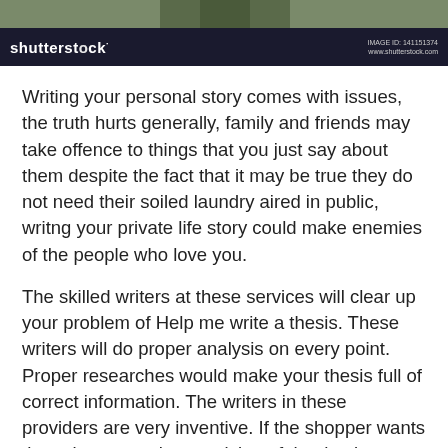[Figure (photo): Top strip showing partial image of a person, with Shutterstock watermark bar below containing the Shutterstock logo on the left and image ID on the right]
Writing your personal story comes with issues, the truth hurts generally, family and friends may take offence to things that you just say about them despite the fact that it may be true they do not need their soiled laundry aired in public, writng your private life story could make enemies of the people who love you.
The skilled writers at these services will clear up your problem of Help me write a thesis. These writers will do proper analysis on every point. Proper researches would make your thesis full of correct information. The writers in these providers are very inventive. If the shopper wants the writers to make a revision of the thesis once more, then the